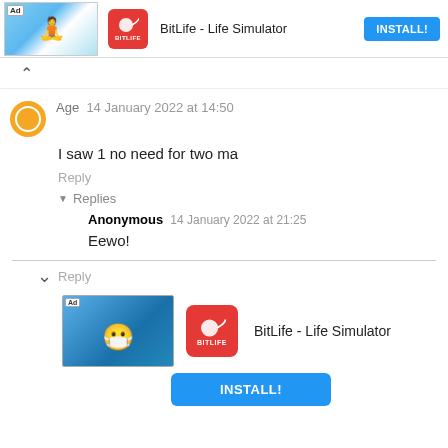[Figure (screenshot): Ad banner: BitLife - Life Simulator with INSTALL! button at top]
Age  14 January 2022 at 14:50
I saw 1 no need for two ma
Reply
▾ Replies
Anonymous  14 January 2022 at 21:25
Eewo!
Reply
[Figure (screenshot): Ad banner: BitLife - Life Simulator with INSTALL! button at bottom]